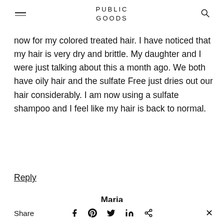PUBLIC GOODS
now for my colored treated hair. I have noticed that my hair is very dry and brittle. My daughter and I were just talking about this a month ago. We both have oily hair and the sulfate Free just dries out our hair considerably. I am now using a sulfate shampoo and I feel like my hair is back to normal.
Reply
Maria
Share